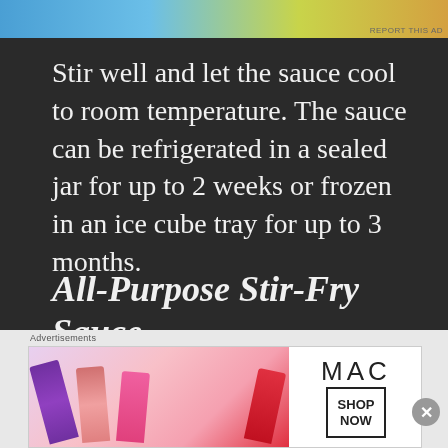[Figure (other): Advertisement banner at top with gradient colors (blue, green, yellow)]
Stir well and let the sauce cool to room temperature. The sauce can be refrigerated in a sealed jar for up to 2 weeks or frozen in an ice cube tray for up to 3 months.
All-Purpose Stir-Fry Sauce
Despite its name, my All-Purpose Stir-Fry Sauce isn't just for stir-fries: it's a fundamental component in recipes of all kinds. This ultra-versatile sauce keeps in the
[Figure (other): MAC Cosmetics advertisement showing lipsticks with SHOP NOW button]